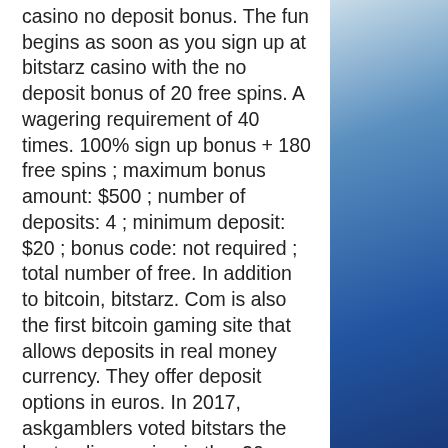casino no deposit bonus. The fun begins as soon as you sign up at bitstarz casino with the no deposit bonus of 20 free spins. A wagering requirement of 40 times. 100% sign up bonus + 180 free spins ; maximum bonus amount: $500 ; number of deposits: 4 ; minimum deposit: $20 ; bonus code: not required ; total number of free. In addition to bitcoin, bitstarz. Com is also the first bitcoin gaming site that allows deposits in real money currency. They offer deposit options in euros. In 2017, askgamblers voted bitstars the best online casino in the. 20 gratissnurr bitstarz bitstars online casino gehen sie zur website,. Get up to $500 or 5 btc plus 180 free spins in the welcome bonus of bitstarz casino · claim up. Since it first launched, bitstarz has been very generous with its welcome bonuses. One of its biggest bonuses is active right now and is one of the best At any one time, there are at least 20 slots games with massive jackpots available
[Figure (photo): Blue ocean/water texture background on the right side of the page]